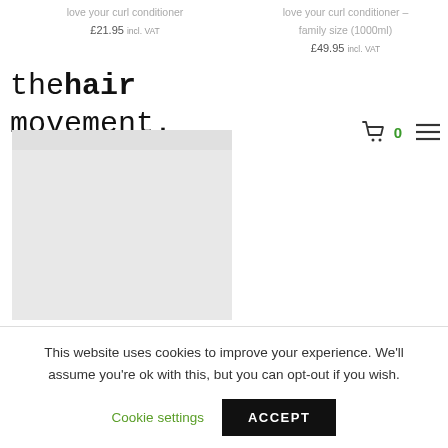love your curl conditioner
£21.95 incl. VAT
love your curl conditioner – family size (1000ml)
£49.95 incl. VAT
[Figure (logo): The Hair Movement logo in bold monospace font reading 'the hair movement.']
[Figure (screenshot): Shopping cart icon with count 0 and hamburger menu icon]
[Figure (photo): Light gray product image placeholder rectangle]
This website uses cookies to improve your experience. We'll assume you're ok with this, but you can opt-out if you wish.
Cookie settings
ACCEPT